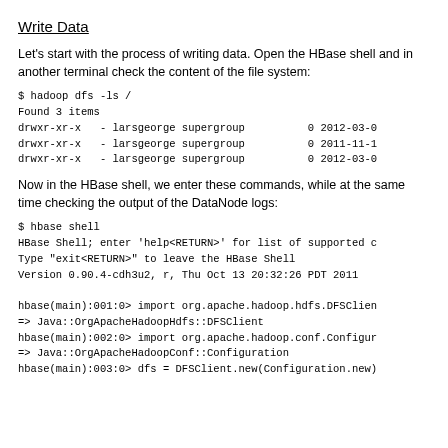Write Data
Let's start with the process of writing data. Open the HBase shell and in another terminal check the content of the file system:
$ hadoop dfs -ls /
Found 3 items
drwxr-xr-x   - larsgeorge supergroup          0 2012-03-0
drwxr-xr-x   - larsgeorge supergroup          0 2011-11-1
drwxr-xr-x   - larsgeorge supergroup          0 2012-03-0
Now in the HBase shell, we enter these commands, while at the same time checking the output of the DataNode logs:
$ hbase shell
HBase Shell; enter 'help<RETURN>' for list of supported c
Type "exit<RETURN>" to leave the HBase Shell
Version 0.90.4-cdh3u2, r, Thu Oct 13 20:32:26 PDT 2011

hbase(main):001:0> import org.apache.hadoop.hdfs.DFSClien
=> Java::OrgApacheHadoopHdfs::DFSClient
hbase(main):002:0> import org.apache.hadoop.conf.Configur
=> Java::OrgApacheHadoopConf::Configuration
hbase(main):003:0> dfs = DFSClient.new(Configuration.new)